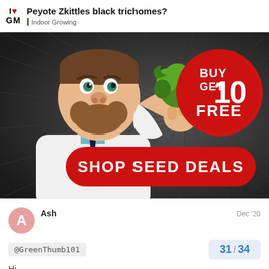I ♥ GM | Peyote Zkittles black trichomes? | Indoor Growing
[Figure (illustration): Advertisement banner with cartoon scientist character holding cannabis bud, 'BUY 10 GET FREE' red circle badge, and 'SHOP SEED DEALS' red button on dark radial background]
Ash
Dec '20
@GreenThumb101
31 / 34
Hi